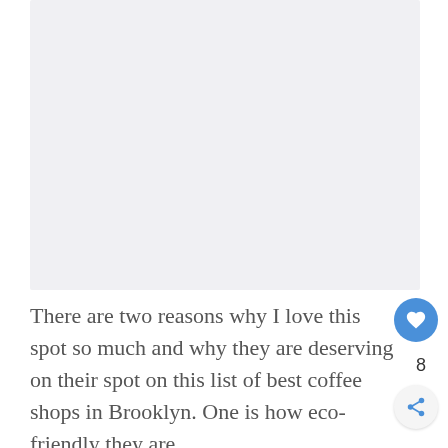[Figure (photo): Light gray placeholder rectangle representing an image area of a coffee shop or related photo]
There are two reasons why I love this spot so much and why they are deserving on their spot on this list of best coffee shops in Brooklyn. One is how eco-friendly they are